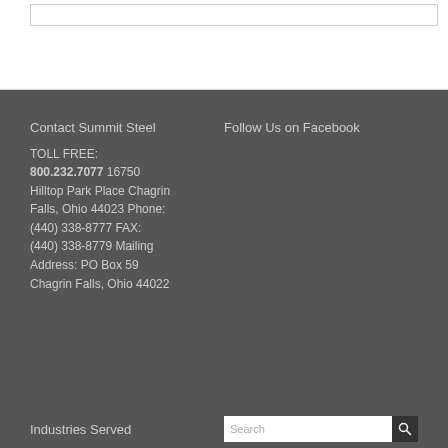Contact Summit Steel
Follow Us on Facebook
TOLL FREE: 800.232.7077 16750 Hilltop Park Place Chagrin Falls, Ohio 44023 Phone: (440) 338-8777 FAX: (440) 338-8779 Mailing Address: PO Box 59 Chagrin Falls, Ohio 44022
Industries Served
Search